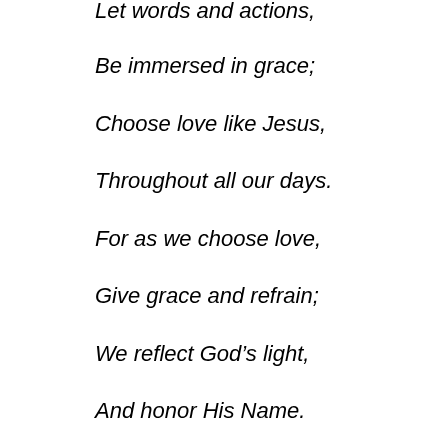Let words and actions,
Be immersed in grace;
Choose love like Jesus,
Throughout all our days.
For as we choose love,
Give grace and refrain;
We reflect God’s light,
And honor His Name.
Dear Heavenly Father, thank You that You remind us what it is to love like You. Forgive us for our complaining or arguing over things that